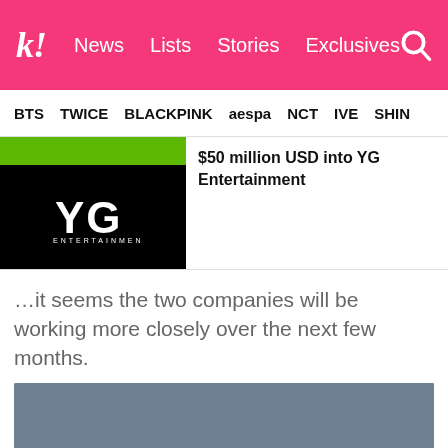k! News Lists Stories Exclusives
BTS TWICE BLACKPINK aespa NCT IVE SHINE
[Figure (photo): YG Entertainment logo with green bar on top, white YG letters on black background]
$50 million USD into YG Entertainment
…it seems the two companies will be working more closely over the next few months.
[Figure (photo): Two people in business suits shaking hands against a grey-blue background]